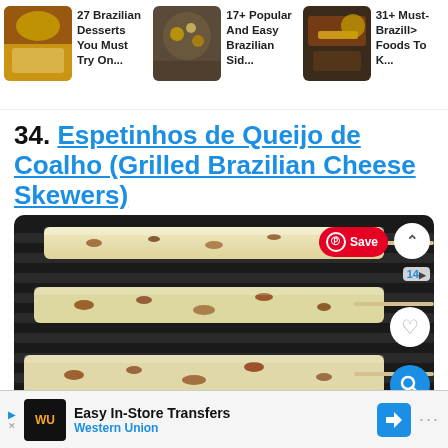[Figure (screenshot): Top navigation bar with three food article thumbnails: '27 Brazilian Desserts You Must Try On...', '17+ Popular And Easy Brazilian Sid...', '31+ Must- Brazill... Foods To K...']
34. Espetinhos de Queijo de Coalho (Grilled Brazilian Cheese Skewers)
[Figure (photo): Three grilled Brazilian cheese skewers (Queijo de Coalho) on a grill grate, showing golden-brown char marks, with wooden skewer handles visible. Pinterest Save button and UI controls (heart, search icons) overlaid on the image.]
[Figure (screenshot): Advertisement bar at the bottom: Western Union 'Easy In-Store Transfers' ad with WU logo, navigation arrow icon.]